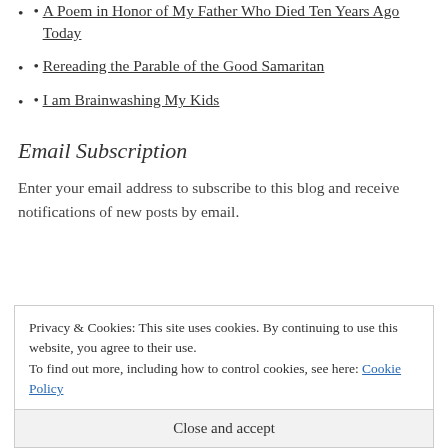A Poem in Honor of My Father Who Died Ten Years Ago Today
Rereading the Parable of the Good Samaritan
I am Brainwashing My Kids
Email Subscription
Enter your email address to subscribe to this blog and receive notifications of new posts by email.
Privacy & Cookies: This site uses cookies. By continuing to use this website, you agree to their use.
To find out more, including how to control cookies, see here: Cookie Policy
Close and accept